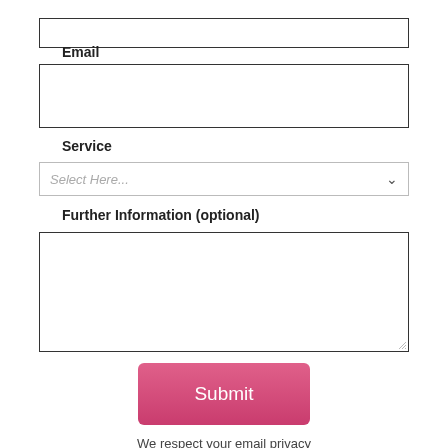[Figure (screenshot): Top of a web form showing a text input box at the top (Email field input area partially cut off)]
Email
[Figure (screenshot): Email text input box]
Service
[Figure (screenshot): Service dropdown select box with placeholder 'Select Here...' and a chevron arrow]
Further Information (optional)
[Figure (screenshot): Large textarea input box for further information]
[Figure (screenshot): Pink Submit button]
We respect your email privacy